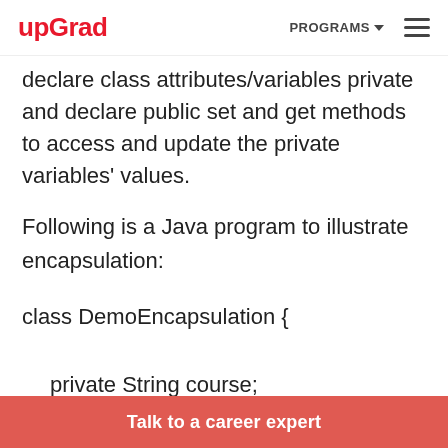upGrad | PROGRAMS
declare class attributes/variables private and declare public set and get methods to access and update the private variables' values.
Following is a Java program to illustrate encapsulation:
class DemoEncapsulation {

  private String course;
Talk to a career expert